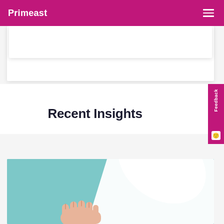Primeast
Recent Insights
[Figure (photo): A hand holding a white megaphone/bullhorn against a teal/light blue background, partially cropped at bottom of page]